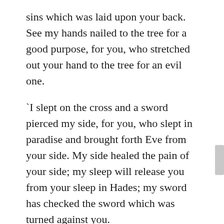sins which was laid upon your back. See my hands nailed to the tree for a good purpose, for you, who stretched out your hand to the tree for an evil one.
'I slept on the cross and a sword pierced my side, for you, who slept in paradise and brought forth Eve from your side. My side healed the pain of your side; my sleep will release you from your sleep in Hades; my sword has checked the sword which was turned against you.
'But arise, let us go hence. The enemy brought you out of the land of paradise; I will reinstate you, no longer in paradise, but on